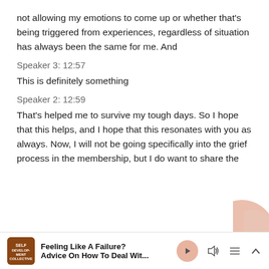not allowing my emotions to come up or whether that's being triggered from experiences, regardless of situation has always been the same for me. And
Speaker 3: 12:57
This is definitely something
Speaker 2: 12:59
That's helped me to survive my tough days. So I hope that this helps, and I hope that this resonates with you as always. Now, I will not be going specifically into the grief process in the membership, but I do want to share the
Feeling Like A Failure? Advice On How To Deal Wit...